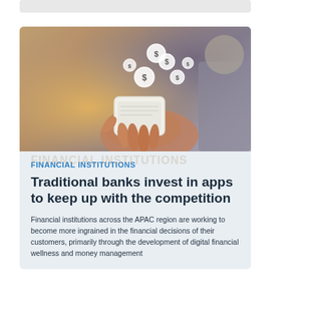[Figure (photo): Person holding a smartphone with dollar sign coin icons floating above it, warm sunlit background, financial app concept image]
FINANCIAL INSTITUTIONS
Traditional banks invest in apps to keep up with the competition
Financial institutions across the APAC region are working to become more ingrained in the financial decisions of their customers, primarily through the development of digital financial wellness and money management